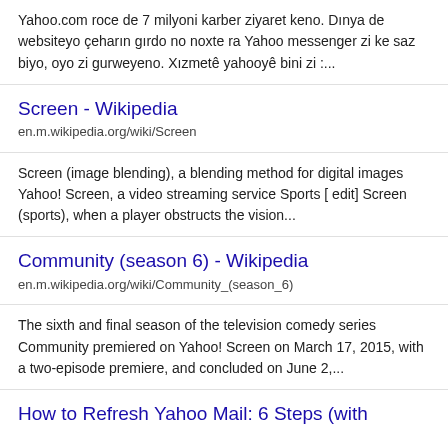Yahoo.com roce de 7 milyoni karber ziyaret keno. Dınya de websiteyo çeharın gırdo no noxte ra Yahoo messenger zi ke saz biyo, oyo zi gurweyeno. Xızmetê yahooyê bini zi :...
Screen - Wikipedia
en.m.wikipedia.org/wiki/Screen
Screen (image blending), a blending method for digital images Yahoo! Screen, a video streaming service Sports [ edit] Screen (sports), when a player obstructs the vision...
Community (season 6) - Wikipedia
en.m.wikipedia.org/wiki/Community_(season_6)
The sixth and final season of the television comedy series Community premiered on Yahoo! Screen on March 17, 2015, with a two-episode premiere, and concluded on June 2,...
How to Refresh Yahoo Mail: 6 Steps (with